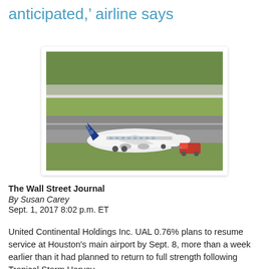anticipated,' airline says
[Figure (photo): A United Airlines aircraft on a runway being towed by a ground vehicle, viewed from above. Green grass and taxiway visible.]
The Wall Street Journal
By Susan Carey
Sept. 1, 2017 8:02 p.m. ET
United Continental Holdings Inc. UAL 0.76% plans to resume service at Houston's main airport by Sept. 8, more than a week earlier than it had planned to return to full strength following Tropical Storm Harvey.